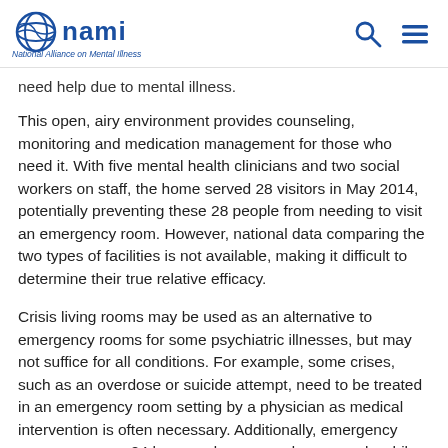NAMI - National Alliance on Mental Illness
need help due to mental illness.
This open, airy environment provides counseling, monitoring and medication management for those who need it. With five mental health clinicians and two social workers on staff, the home served 28 visitors in May 2014, potentially preventing these 28 people from needing to visit an emergency room. However, national data comparing the two types of facilities is not available, making it difficult to determine their true relative efficacy.
Crisis living rooms may be used as an alternative to emergency rooms for some psychiatric illnesses, but may not suffice for all conditions. For example, some crises, such as an overdose or suicide attempt, need to be treated in an emergency room setting by a physician as medical intervention is often necessary. Additionally, emergency rooms are open 24 hours a day, seven days a week, while some mental crisis living room centers are only open